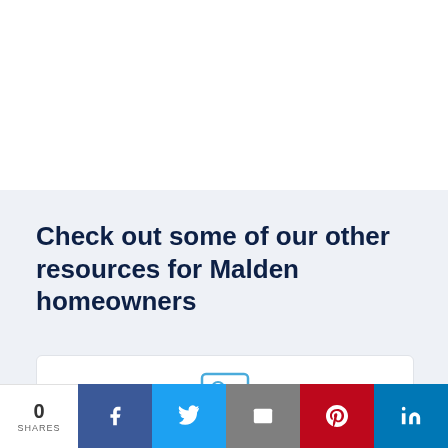Check out some of our other resources for Malden homeowners
[Figure (other): White card with a person/contact card icon in blue]
0 SHARES | Facebook | Twitter | Email | Pinterest | LinkedIn